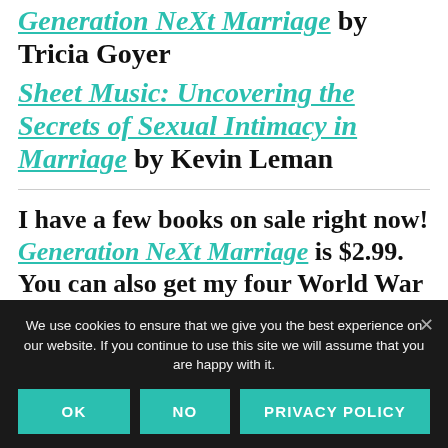Generation NeXt Marriage by Tricia Goyer
Sheet Music: Uncovering the Secrets of Sexual Intimacy in Marriage by Kevin Leman
I have a few books on sale right now! Generation NeXt Marriage is $2.99. You can also get my four World War II novels in the Liberators Series for
We use cookies to ensure that we give you the best experience on our website. If you continue to use this site we will assume that you are happy with it.
OK   NO   PRIVACY POLICY